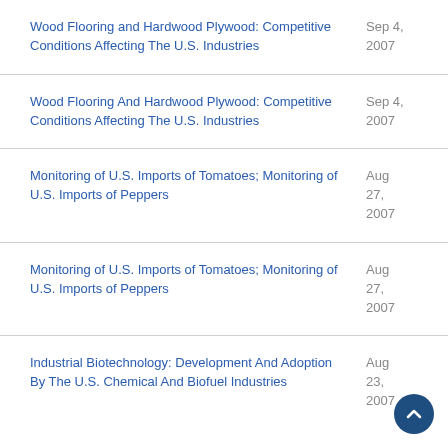Wood Flooring and Hardwood Plywood: Competitive Conditions Affecting The U.S. Industries | Sep 4, 2007
Wood Flooring And Hardwood Plywood: Competitive Conditions Affecting The U.S. Industries | Sep 4, 2007
Monitoring of U.S. Imports of Tomatoes; Monitoring of U.S. Imports of Peppers | Aug 27, 2007
Monitoring of U.S. Imports of Tomatoes; Monitoring of U.S. Imports of Peppers | Aug 27, 2007
Industrial Biotechnology: Development And Adoption By The U.S. Chemical And Biofuel Industries | Aug 23, 2007